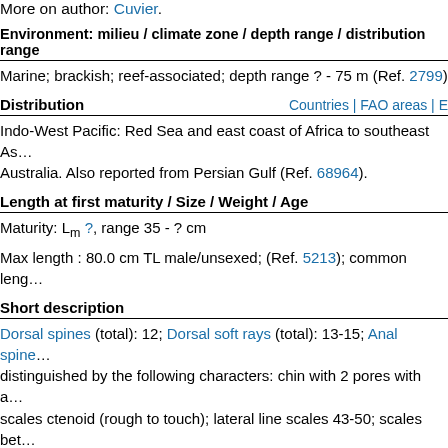More on author: Cuvier.
Environment: milieu / climate zone / depth range / distribution range
Marine; brackish; reef-associated; depth range ? - 75 m (Ref. 2799)
Distribution    Countries | FAO areas | E…
Indo-West Pacific: Red Sea and east coast of Africa to southeast As… Australia. Also reported from Persian Gulf (Ref. 68964).
Length at first maturity / Size / Weight / Age
Maturity: Lm ?, range 35 - ? cm
Max length : 80.0 cm TL male/unsexed; (Ref. 5213); common leng…
Short description
Dorsal spines (total): 12; Dorsal soft rays (total): 13-15; Anal spine… distinguished by the following characters: chin with 2 pores with a… scales ctenoid (rough to touch); lateral line scales 43-50; scales bet… around caudal peduncle 20, 9 above lateral line and 9 below; body … blunt, its upper profile convex; mouth small; maxilla reaching to ey… (brushlike) bands; swimbladder without anteriolateral horn-like ext… green above to golden silver on sides and silvery white on belly wit… small dark brown spots or irregular blotches; dorsal fin spotted with…